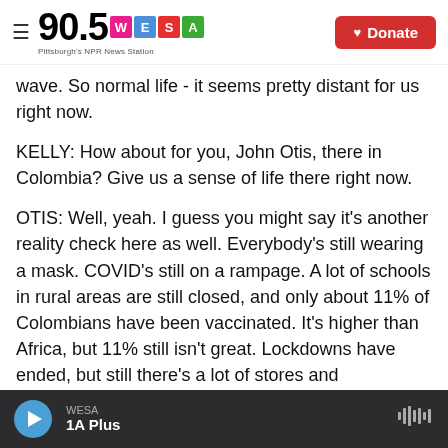90.5 WESA Pittsburgh's NPR News Station | Donate
wave. So normal life - it seems pretty distant for us right now.
KELLY: How about for you, John Otis, there in Colombia? Give us a sense of life there right now.
OTIS: Well, yeah. I guess you might say it's another reality check here as well. Everybody's still wearing a mask. COVID's still on a rampage. A lot of schools in rural areas are still closed, and only about 11% of Colombians have been vaccinated. It's higher than Africa, but 11% still isn't great. Lockdowns have ended, but still there's a lot of stores and
WESA | 1A Plus